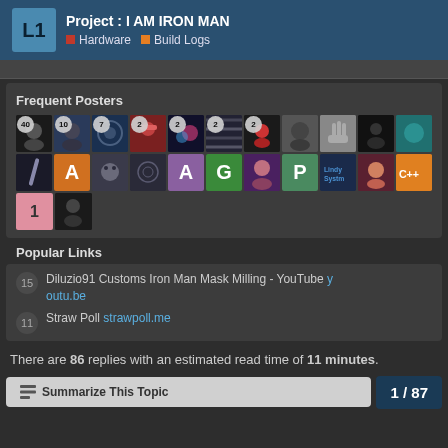Project : I AM IRON MAN — Hardware, Build Logs
Frequent Posters
[Figure (other): Grid of user avatar images with post count badges. Row 1: counts 40, 10, 7, 2, 2, 2, 2, and 3 more. Row 2: 11 avatars. Row 3: 2 avatars with count badge 1.]
Popular Links
15  Diluzio91 Customs Iron Man Mask Milling - YouTube  youtu.be
11  Straw Poll  strawpoll.me
There are 86 replies with an estimated read time of 11 minutes.
1 / 87